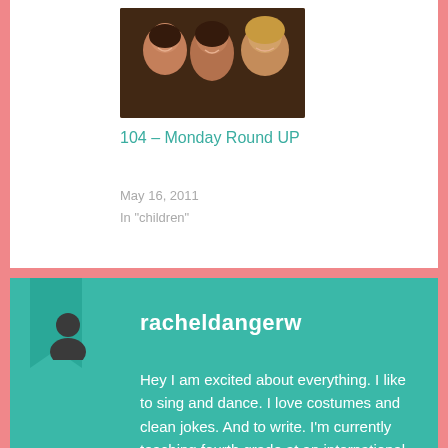[Figure (photo): Photo of three women smiling together]
104 – Monday Round UP
May 16, 2011
In "children"
racheldangerw
Hey I am excited about everything. I like to sing and dance. I love costumes and clean jokes. And to write. I'm currently teaching fourth grade at an international school in Hong Kong. I travel quite a bit and watch a lot of youtube compilations of dogs when I'm sad. Let's be friends.